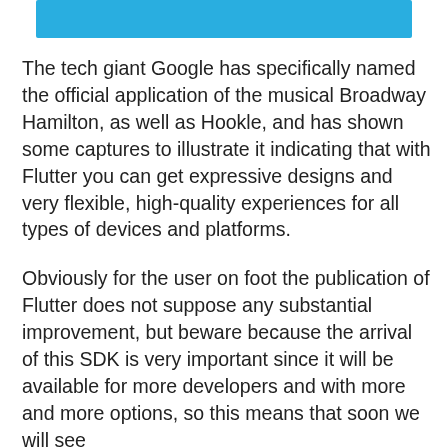[Figure (other): Solid light blue horizontal bar at top of page]
The tech giant Google has specifically named the official application of the musical Broadway Hamilton, as well as Hookle, and has shown some captures to illustrate it indicating that with Flutter you can get expressive designs and very flexible, high-quality experiences for all types of devices and platforms.
Obviously for the user on foot the publication of Flutter does not suppose any substantial improvement, but beware because the arrival of this SDK is very important since it will be available for more developers and with more and more options, so this means that soon we will see